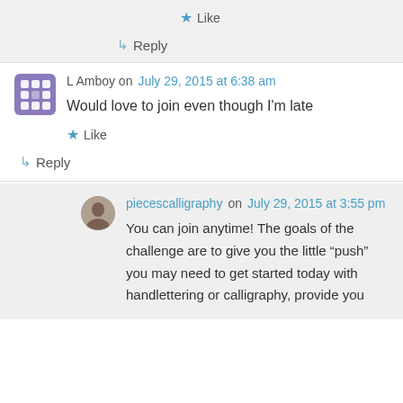Like
Reply
L Amboy on July 29, 2015 at 6:38 am
Would love to join even though I'm late
Like
Reply
piecescalligraphy on July 29, 2015 at 3:55 pm
You can join anytime! The goals of the challenge are to give you the little “push” you may need to get started today with handlettering or calligraphy, provide you